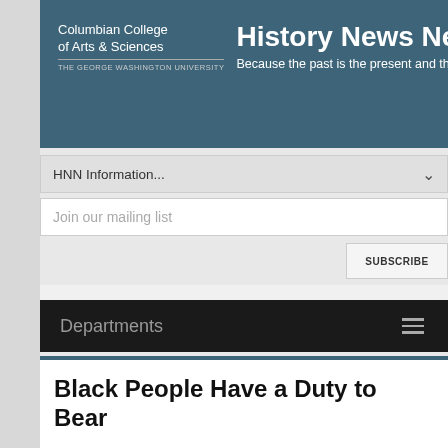Columbian College of Arts & Sciences | THE GEORGE WASHINGTON UNIVERSITY | History News Network | Because the past is the present and the future too
HNN Information...
Join our mailing list
SUBSCRIBE
Departments
[Figure (infographic): HNN Donate Today! Without your support, there is no HNN.]
Black People Have a Duty to Bear